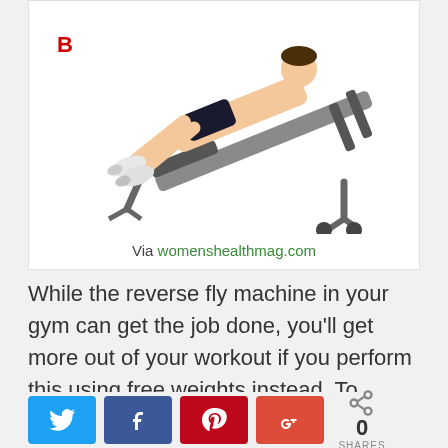[Figure (photo): Person lying face-down on an incline weight bench performing a reverse fly exercise. The letter B appears in red in the upper-left area of the image. The bench is grey metal with footrests.]
Via womenshealthmag.com
While the reverse fly machine in your gym can get the job done, you'll get more out of your workout if you perform this using free weights instead. To perform this, start by lying face down on a bench with only the balls of your feet planted on the floor. Then, grasp the dumbbells. Bend your elbows slightly and angle your arms out. Pull the weights up by squeezing your shoulder blades together. Lower the
[Figure (infographic): Social sharing bar with Twitter (blue), Facebook (dark blue), Pinterest (red), Google+ (red-orange) buttons, and a share count showing 0 SHARES]